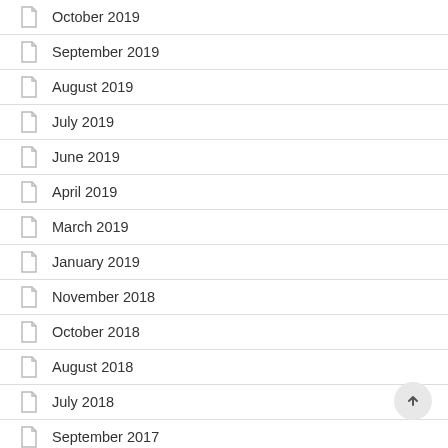October 2019
September 2019
August 2019
July 2019
June 2019
April 2019
March 2019
January 2019
November 2018
October 2018
August 2018
July 2018
September 2017
July 2017